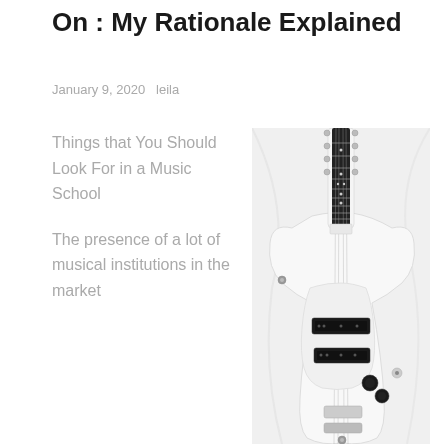On : My Rationale Explained
January 9, 2020   leila
Things that You Should Look For in a Music School
The presence of a lot of musical institutions in the market
[Figure (photo): White electric bass guitar (Fender Mustang style) photographed against a white background, showing the neck with black fretboard, white body, white pickguard, and multiple black pickups]